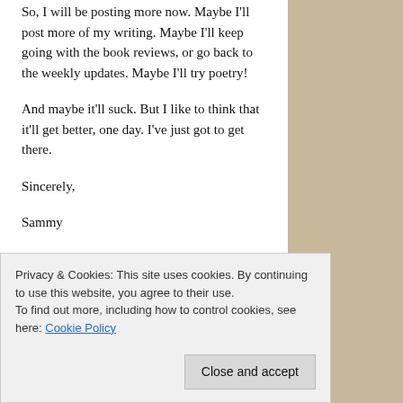So, I will be posting more now. Maybe I'll post more of my writing. Maybe I'll keep going with the book reviews, or go back to the weekly updates. Maybe I'll try poetry!
And maybe it'll suck. But I like to think that it'll get better, one day. I've just got to get there.
Sincerely,
Sammy
Privacy & Cookies: This site uses cookies. By continuing to use this website, you agree to their use.
To find out more, including how to control cookies, see here: Cookie Policy
Close and accept